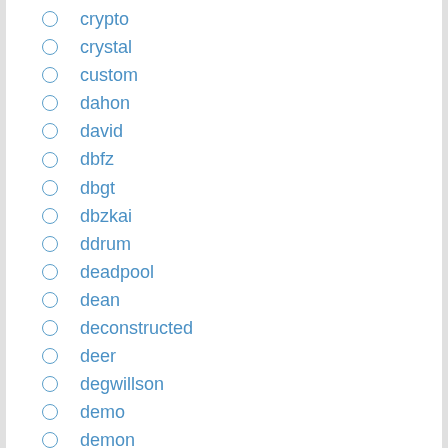crypto
crystal
custom
dahon
david
dbfz
dbgt
dbzkai
ddrum
deadpool
dean
deconstructed
deer
degwillson
demo
demon
dende
denon
deps